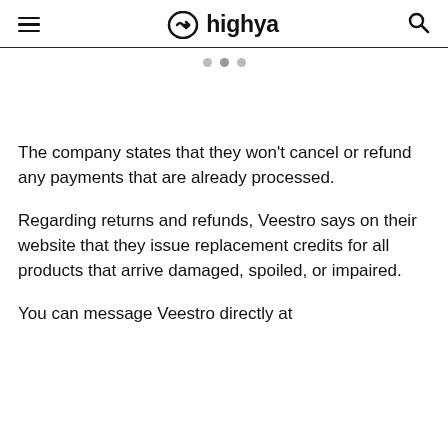highya
[Figure (other): Three navigation dots (pagination indicator), two grey and one slightly darker, centered below the header]
The company states that they won't cancel or refund any payments that are already processed.
Regarding returns and refunds, Veestro says on their website that they issue replacement credits for all products that arrive damaged, spoiled, or impaired.
You can message Veestro directly at